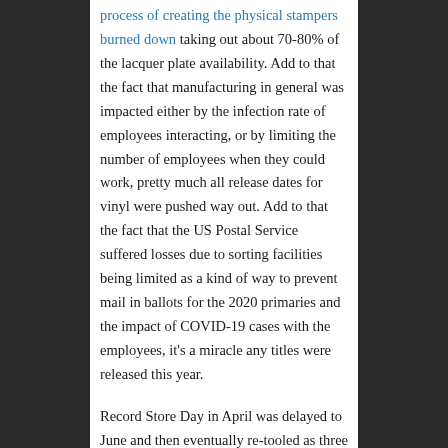process of creating the physical stampers burned down taking out about 70-80% of the lacquer plate availability. Add to that the fact that manufacturing in general was impacted either by the infection rate of employees interacting, or by limiting the number of employees when they could work, pretty much all release dates for vinyl were pushed way out. Add to that the fact that the US Postal Service suffered losses due to sorting facilities being limited as a kind of way to prevent mail in ballots for the 2020 primaries and the impact of COVID-19 cases with the employees, it's a miracle any titles were released this year.
Record Store Day in April was delayed to June and then eventually re-tooled as three "RSD Drops" in August, September and October. Most of the titles for RSD in April were manufactured in 2019 in anticipation for the usual vinyl manufacturing delays surrounding the April event. As such, most of the big titles for that event came out as planned, with some titles being pulled out and released outside of the drops and some delayed to later Drop dates